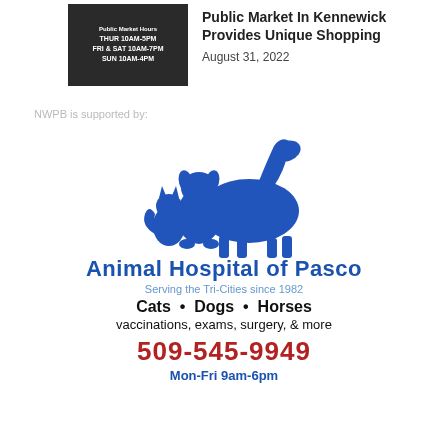[Figure (photo): Photo of a sign showing Public Market hours: THUR 10AM-5PM, FRI & SAT 10AM-7PM, SUN 10AM-4PM on a dark background]
Public Market In Kennewick Provides Unique Shopping
August 31, 2022
NWPB is supported by:
[Figure (logo): Animal Hospital of Pasco logo with blue silhouettes of a dog, cat, and horse grouped together]
Animal Hospital of Pasco
Serving the Tri-Cities since 1982
Cats • Dogs • Horses
vaccinations, exams, surgery, & more
509-545-9949
Mon-Fri 9am-6pm